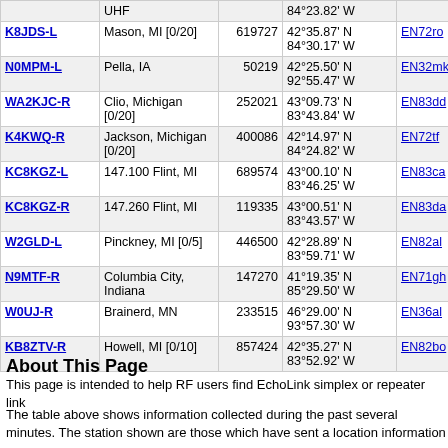| Callsign | Location | Node | Coordinates | Grid | Dist | Freq |
| --- | --- | --- | --- | --- | --- | --- |
|  | UHF |  | 84°23.82' W |  |  |  |
| K8JDS-L | Mason, MI [0/20] | 619727 | 42°35.87' N 84°30.17' W | EN72ro | 255.7 |  |
| N0MPM-L | Pella, IA | 50219 | 42°25.50' N 92°55.47' W | EN32mk | 256.3 | 145.170 |
| WA2KJC-R | Clio, Michigan [0/20] | 252021 | 43°09.73' N 83°43.84' W | EN83dd | 271.2 | 446.500 |
| K4KWQ-R | Jackson, Michigan [0/20] | 400086 | 42°14.97' N 84°24.82' W | EN72tf | 273.6 | 444.900 |
| KC8KGZ-L | 147.100 Flint, MI | 689574 | 43°00.10' N 83°46.25' W | EN83ca | 274.0 | 147.100 |
| KC8KGZ-R | 147.260 Flint, MI | 119335 | 43°00.51' N 83°43.57' W | EN83da | 275.8 | 147.260 |
| W2GLD-L | Pinckney, MI [0/5] | 446500 | 42°28.89' N 83°59.71' W | EN82al | 281.7 | 446.500 |
| N9MTF-R | Columbia City, Indiana | 147270 | 41°19.35' N 85°29.50' W | EN71gh | 281.8 | 147.270 |
| W0UJ-R | Brainerd, MN | 233515 | 46°29.00' N 93°57.30' W | EN36al | 281.8 | 147.225 |
| KB8ZTV-R | Howell, MI [0/10] | 857424 | 42°35.27' N 83°52.92' W | EN82bo | 282.7 |  |
About This Page
This page is intended to help RF users find EchoLink simplex or repeater link
The table above shows information collected during the past several minutes. The station shown are those which have sent a location information